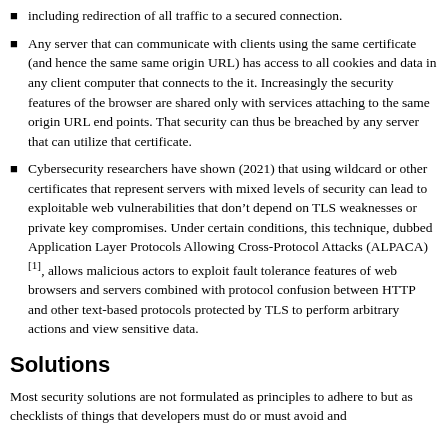including redirection of all traffic to a secured connection.
Any server that can communicate with clients using the same certificate (and hence the same same origin URL) has access to all cookies and data in any client computer that connects to the it. Increasingly the security features of the browser are shared only with services attaching to the same origin URL end points. That security can thus be breached by any server that can utilize that certificate.
Cybersecurity researchers have shown (2021) that using wildcard or other certificates that represent servers with mixed levels of security can lead to exploitable web vulnerabilities that don’t depend on TLS weaknesses or private key compromises. Under certain conditions, this technique, dubbed Application Layer Protocols Allowing Cross-Protocol Attacks (ALPACA)[1], allows malicious actors to exploit fault tolerance features of web browsers and servers combined with protocol confusion between HTTP and other text-based protocols protected by TLS to perform arbitrary actions and view sensitive data.
Solutions
Most security solutions are not formulated as principles to adhere to but as checklists of things that developers must do or must avoid and